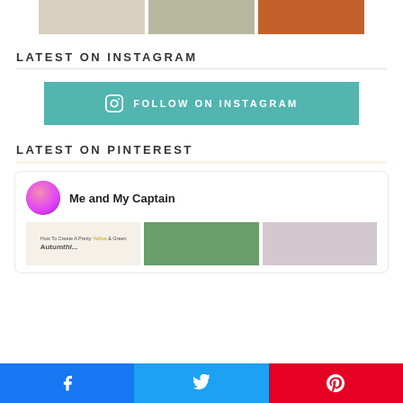[Figure (photo): Three Instagram photo thumbnails in a row]
LATEST ON INSTAGRAM
[Figure (other): Teal button with Instagram icon and text FOLLOW ON INSTAGRAM]
LATEST ON PINTEREST
[Figure (other): Pinterest widget card showing profile 'Me and My Captain' with avatar and three image thumbnails]
[Figure (other): Social share bar with Facebook, Twitter, and Pinterest buttons]